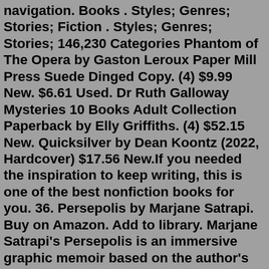navigation. Books . Styles; Genres; Stories; Fiction . Styles; Genres; Stories; 146,230 Categories Phantom of The Opera by Gaston Leroux Paper Mill Press Suede Dinged Copy. (4) $9.99 New. $6.61 Used. Dr Ruth Galloway Mysteries 10 Books Adult Collection Paperback by Elly Griffiths. (4) $52.15 New. Quicksilver by Dean Koontz (2022, Hardcover) $17.56 New.If you needed the inspiration to keep writing, this is one of the best nonfiction books for you. 36. Persepolis by Marjane Satrapi. Buy on Amazon. Add to library. Marjane Satrapi's Persepolis is an immersive graphic memoir based on the author's childhood in the Iranian capital of Tehran during the Islamic Revolution. 1 of 5 stars 2 of 5 stars 3 of 5 stars 4 of 5 stars 5 of 5 stars. 6. The Shadow of the Wind (The Cemetery of Forgotten Books, #1) by. Carlos Ruiz Zafón. 4.28 avg rating — 558,685 ratings. Best Sellers in Unexplained Mysteries. #1. Behold a Pale Horse. Milton William Cooper. 10,895. Audible Audiobook. 1 offer from $5.99. #2. Between Death